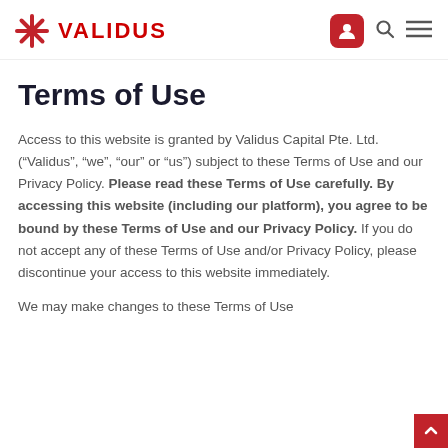VALIDUS
Terms of Use
Access to this website is granted by Validus Capital Pte. Ltd. (“Validus”, “we”, “our” or “us”) subject to these Terms of Use and our Privacy Policy. Please read these Terms of Use carefully. By accessing this website (including our platform), you agree to be bound by these Terms of Use and our Privacy Policy. If you do not accept any of these Terms of Use and/or Privacy Policy, please discontinue your access to this website immediately.
We may make changes to these Terms of Use